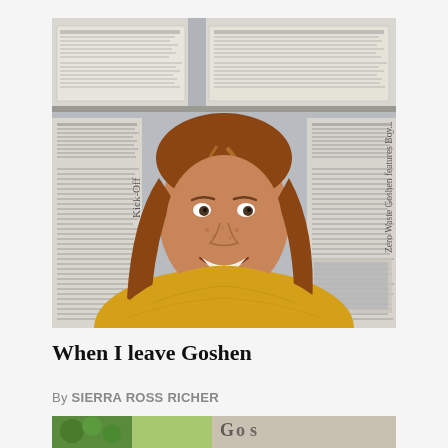[Figure (photo): A young woman with long reddish-brown hair wearing a yellow sweater, smiling in front of a wall covered with newspaper clippings. One clipping is visible reading 'Kick-Off' and another reads 'Zero Waste Goshen features Boy...' in the background.]
When I leave Goshen
By SIERRA ROSS RICHER
[Figure (photo): Partial bottom strip showing a colorful image, partially cut off.]